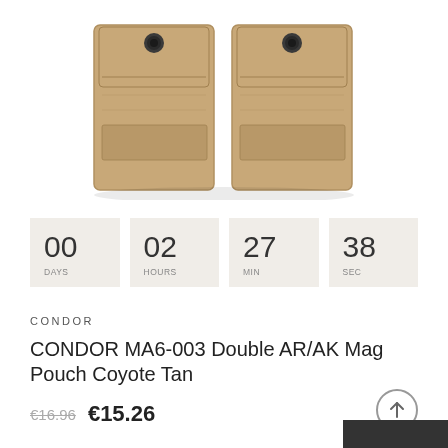[Figure (photo): Two tan/coyote colored double AR/AK magazine pouches with snap buttons and velcro, photographed from above on white background.]
00 DAYS  02 HOURS  27 MIN  38 SEC
CONDOR
CONDOR MA6-003 Double AR/AK Mag Pouch Coyote Tan
€16.96  €15.26